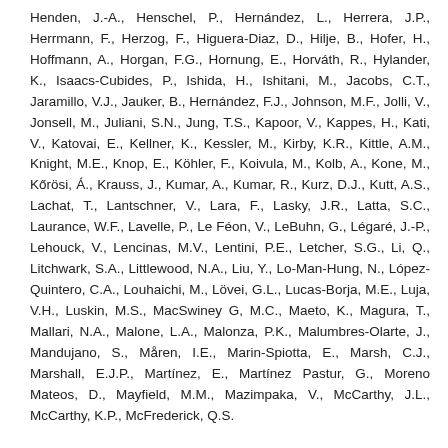Henden, J.-A., Henschel, P., Hernández, L., Herrera, J.P., Herrmann, F., Herzog, F., Higuera-Diaz, D., Hilje, B., Hofer, H., Hoffmann, A., Horgan, F.G., Hornung, E., Horváth, R., Hylander, K., Isaacs-Cubides, P., Ishida, H., Ishitani, M., Jacobs, C.T., Jaramillo, V.J., Jauker, B., Hernández, F.J., Johnson, M.F., Jolli, V., Jonsell, M., Juliani, S.N., Jung, T.S., Kapoor, V., Kappes, H., Kati, V., Katovai, E., Kellner, K., Kessler, M., Kirby, K.R., Kittle, A.M., Knight, M.E., Knop, E., Köhler, F., Koivula, M., Kolb, A., Kone, M., Kőrösi, Á., Krauss, J., Kumar, A., Kumar, R., Kurz, D.J., Kutt, A.S., Lachat, T., Lantschner, V., Lara, F., Lasky, J.R., Latta, S.C., Laurance, W.F., Lavelle, P., Le Féon, V., LeBuhn, G., Légaré, J.-P., Lehouck, V., Lencinas, M.V., Lentini, P.E., Letcher, S.G., Li, Q., Litchwark, S.A., Littlewood, N.A., Liu, Y., Lo-Man-Hung, N., López-Quintero, C.A., Louhaichi, M., Lövei, G.L., Lucas-Borja, M.E., Luja, V.H., Luskin, M.S., MacSwiney G, M.C., Maeto, K., Magura, T., Mallari, N.A., Malone, L.A., Malonza, P.K., Malumbres-Olarte, J., Mandujano, S., Måren, I.E., Marin-Spiotta, E., Marsh, C.J., Marshall, E.J.P., Martínez, E., Martínez Pastur, G., Moreno Mateos, D., Mayfield, M.M., Mazimpaka, V., McCarthy, J.L., McCarthy, K.P., McFrederick, Q.S.